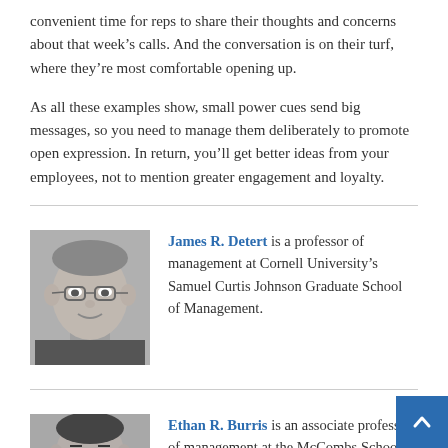convenient time for reps to share their thoughts and concerns about that week's calls. And the conversation is on their turf, where they're most comfortable opening up.
As all these examples show, small power cues send big messages, so you need to manage them deliberately to promote open expression. In return, you'll get better ideas from your employees, not to mention greater engagement and loyalty.
[Figure (photo): Black and white headshot photo of James R. Detert, a middle-aged man wearing glasses]
James R. Detert is a professor of management at Cornell University's Samuel Curtis Johnson Graduate School of Management.
[Figure (photo): Black and white headshot photo of Ethan R. Burris]
Ethan R. Burris is an associate professor of management at the McCombs School of